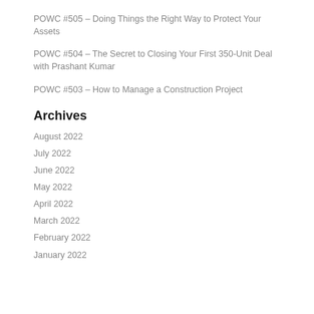POWC #505 – Doing Things the Right Way to Protect Your Assets
POWC #504 – The Secret to Closing Your First 350-Unit Deal with Prashant Kumar
POWC #503 – How to Manage a Construction Project
Archives
August 2022
July 2022
June 2022
May 2022
April 2022
March 2022
February 2022
January 2022